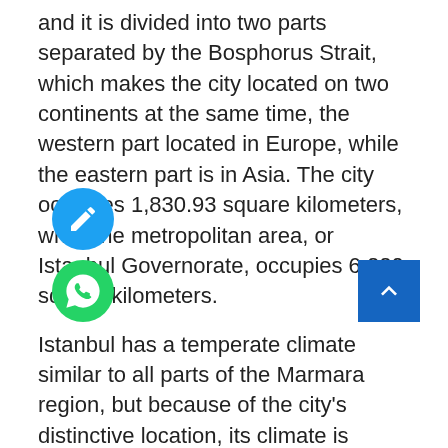and it is divided into two parts separated by the Bosphorus Strait, which makes the city located on two continents at the same time, the western part located in Europe, while the eastern part is in Asia. The city occupies 1,830.93 square kilometers, while the metropolitan area, or Istanbul Governorate, occupies 6,220 square kilometers.
Istanbul has a temperate climate similar to all parts of the Marmara region, but because of the city's distinctive location, its climate is considered a "transitional climate", as it is located in a middle area between the regions with the oceanic climate of the Black Sea, the humid continental climate of the Balkan Peninsula, and the Mediterranean climate. This diversity in climatic patterns was reflected in the plant diversity, as different types of plants and trees characteristic of each region separately can be found collectively in this region, Istanbul is bordered on its Asian